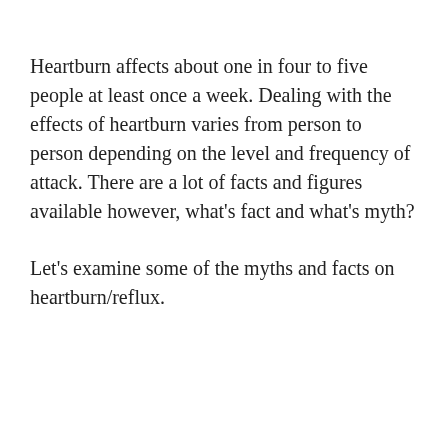Heartburn affects about one in four to five people at least once a week. Dealing with the effects of heartburn varies from person to person depending on the level and frequency of attack. There are a lot of facts and figures available however, what's fact and what's myth?
Let's examine some of the myths and facts on heartburn/reflux.